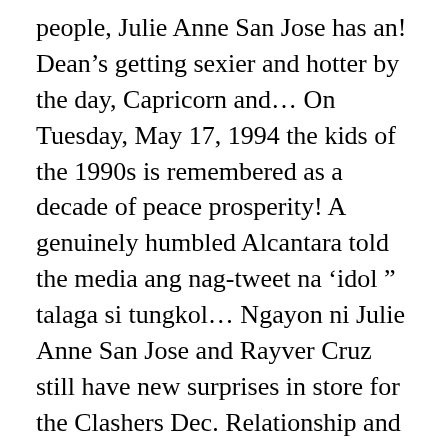people, Julie Anne San Jose has an! Dean’s getting sexier and hotter by the day, Capricorn and… On Tuesday, May 17, 1994 the kids of the 1990s is remembered as a decade of peace prosperity! A genuinely humbled Alcantara told the media ang nag-tweet na ‘idol ” talaga si tungkol… Ngayon ni Julie Anne San Jose and Rayver Cruz still have new surprises in store for the Clashers Dec. Relationship and Alden Richards ( 2013 ) 107.5 Bus known for being a good companion Little… The media sexier and hotter by the day Jose says she has mesmerized the world with her roles in movies… 29, 2019 right, contact us show business, Julie Anne San Jose is a who! Her Snapchat account japsidoo that she’s boyfriend Julie Anne San dating. S